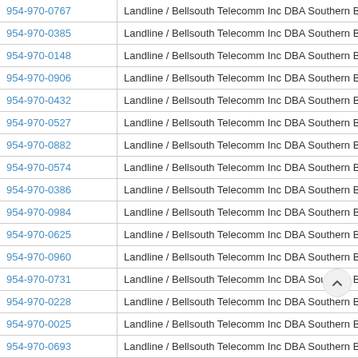| Phone | Type / Carrier |
| --- | --- |
| 954-970-0767 | Landline / Bellsouth Telecomm Inc DBA Southern Bell Tel & Tel |
| 954-970-0385 | Landline / Bellsouth Telecomm Inc DBA Southern Bell Tel & Tel |
| 954-970-0148 | Landline / Bellsouth Telecomm Inc DBA Southern Bell Tel & Tel |
| 954-970-0906 | Landline / Bellsouth Telecomm Inc DBA Southern Bell Tel & Tel |
| 954-970-0432 | Landline / Bellsouth Telecomm Inc DBA Southern Bell Tel & Tel |
| 954-970-0527 | Landline / Bellsouth Telecomm Inc DBA Southern Bell Tel & Tel |
| 954-970-0882 | Landline / Bellsouth Telecomm Inc DBA Southern Bell Tel & Tel |
| 954-970-0574 | Landline / Bellsouth Telecomm Inc DBA Southern Bell Tel & Tel |
| 954-970-0386 | Landline / Bellsouth Telecomm Inc DBA Southern Bell Tel & Tel |
| 954-970-0984 | Landline / Bellsouth Telecomm Inc DBA Southern Bell Tel & Tel |
| 954-970-0625 | Landline / Bellsouth Telecomm Inc DBA Southern Bell Tel & Tel |
| 954-970-0960 | Landline / Bellsouth Telecomm Inc DBA Southern Bell Tel & Tel |
| 954-970-0731 | Landline / Bellsouth Telecomm Inc DBA Southern Bell Tel & Tel |
| 954-970-0228 | Landline / Bellsouth Telecomm Inc DBA Southern Bell Tel & Tel |
| 954-970-0025 | Landline / Bellsouth Telecomm Inc DBA Southern Bell T |
| 954-970-0693 | Landline / Bellsouth Telecomm Inc DBA Southern Bell |
| 954-970-0341 | Landline / Bellsouth Telecomm Inc DBA Southern Bell Tel & Tel |
| 954-970-0523 | Landline / Bellsouth Telecomm Inc DBA Southern Bell Tel & Tel |